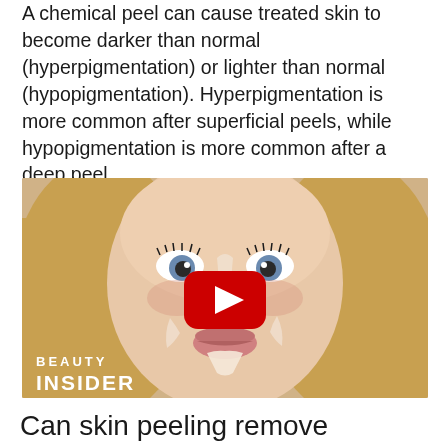A chemical peel can cause treated skin to become darker than normal (hyperpigmentation) or lighter than normal (hypopigmentation). Hyperpigmentation is more common after superficial peels, while hypopigmentation is more common after a deep peel.
[Figure (photo): Video thumbnail showing a woman with peeling skin on her face, with a YouTube play button overlay and 'BEAUTY INSIDER' text in the lower left corner.]
Can skin peeling remove